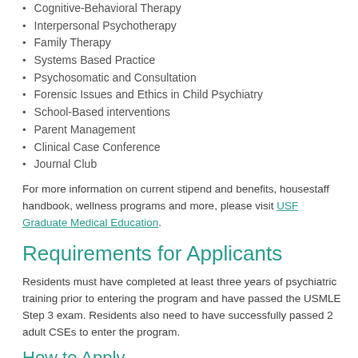Cognitive-Behavioral Therapy
Interpersonal Psychotherapy
Family Therapy
Systems Based Practice
Psychosomatic and Consultation
Forensic Issues and Ethics in Child Psychiatry
School-Based interventions
Parent Management
Clinical Case Conference
Journal Club
For more information on current stipend and benefits, housestaff handbook, wellness programs and more, please visit USF Graduate Medical Education.
Requirements for Applicants
Residents must have completed at least three years of psychiatric training prior to entering the program and have passed the USMLE Step 3 exam. Residents also need to have successfully passed 2 adult CSEs to enter the program.
How to Apply